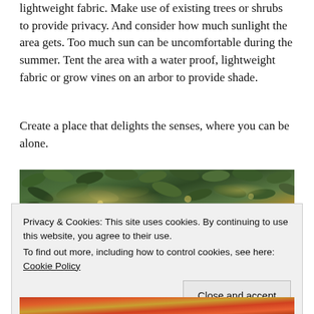lightweight fabric. Make use of existing trees or shrubs to provide privacy. And consider how much sunlight the area gets. Too much sun can be uncomfortable during the summer. Tent the area with a water proof, lightweight fabric or grow vines on an arbor to provide shade.
Create a place that delights the senses, where you can be alone.
[Figure (photo): Close-up photo of dense green leafy shrubs or trees with light filtering through, showing bokeh light spots among foliage with warm autumn tones]
Privacy & Cookies: This site uses cookies. By continuing to use this website, you agree to their use.
To find out more, including how to control cookies, see here: Cookie Policy
[Close and accept button]
[Figure (photo): Bottom portion of another garden photo showing warm orange and red tones, partially visible]